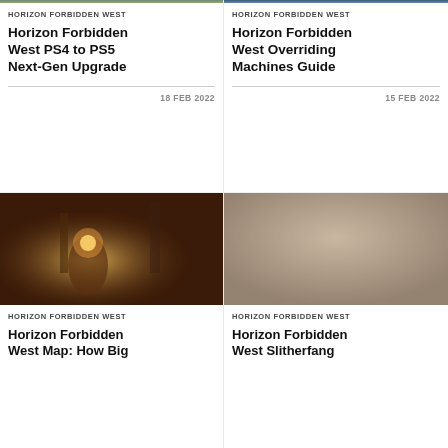[Figure (photo): Horizon Forbidden West game screenshot - top left, partial view]
HORIZON FORBIDDEN WEST
Horizon Forbidden West PS4 to PS5 Next-Gen Upgrade
18 FEB 2022
[Figure (photo): Horizon Forbidden West game screenshot - top right, partial view]
HORIZON FORBIDDEN WEST
Horizon Forbidden West Overriding Machines Guide
15 FEB 2022
[Figure (photo): Horizon Forbidden West artwork showing character in a glowing forest scene]
HORIZON FORBIDDEN WEST
Horizon Forbidden West Map: How Big
[Figure (photo): Horizon Forbidden West screenshot - blurred/muted desert scene]
HORIZON FORBIDDEN WEST
Horizon Forbidden West Slitherfang